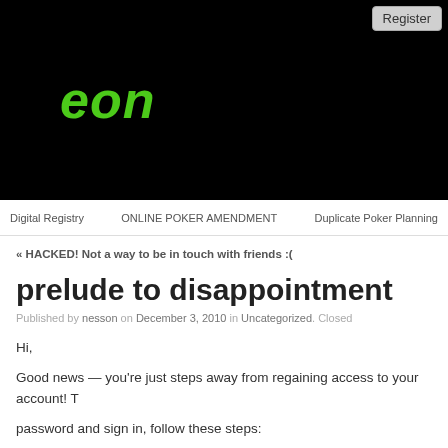[Figure (logo): Black header banner with green italic bold logo text 'eon']
Register
Digital Registry   ONLINE POKER AMENDMENT   Duplicate Poker Planning
« HACKED! Not a way to be in touch with friends :<(
prelude to disappointment
Published by nesson on December 3, 2010 in Uncategorized. Closed
Hi,
Good news — you're just steps away from regaining access to your account! To password and sign in, follow these steps: